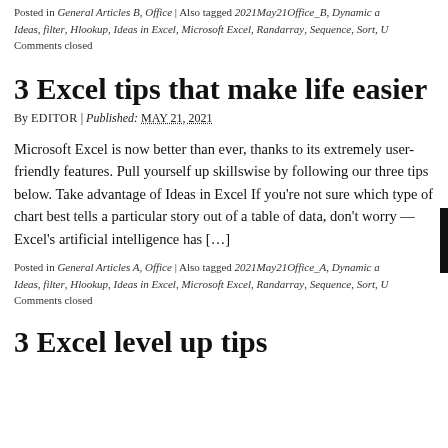Posted in General Articles B, Office | Also tagged 2021May21Office_B, Dynamic a... Ideas, filter, Hlookup, Ideas in Excel, Microsoft Excel, Randarray, Sequence, Sort, U... Comments closed
3 Excel tips that make life easier
By EDITOR | Published: MAY 21, 2021
Microsoft Excel is now better than ever, thanks to its extremely user-friendly features. Pull yourself up skillswise by following our three tips below. Take advantage of Ideas in Excel If you’re not sure which type of chart best tells a particular story out of a table of data, don’t worry — Excel’s artificial intelligence has […]
Posted in General Articles A, Office | Also tagged 2021May21Office_A, Dynamic a... Ideas, filter, Hlookup, Ideas in Excel, Microsoft Excel, Randarray, Sequence, Sort, U... Comments closed
3 Excel level up tips